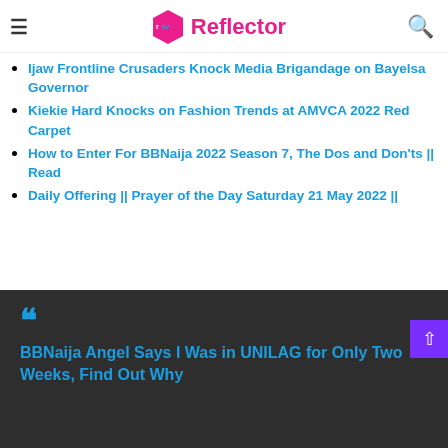tv Reflector
Ijaw Frontline Crusaders Knock Media Brigandage on Bayelsa Governor
Kiekie Hard Knocks on Fashion Trends at AMVCA 2022 Red Carpet
How to Enter For BBNaija 2022 Season 7, The Dos and Don'ts || Read
Daily Offering || Prayer of the Day Saturday 21 May 2022 ||
BBNaija Angel Says I Was in UNILAG for Only Two Weeks, Find Out Why